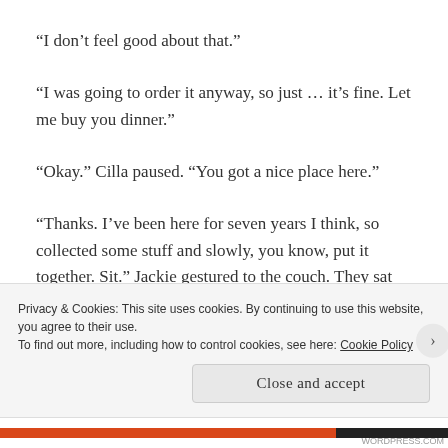“I don’t feel good about that.”
“I was going to order it anyway, so just … it’s fine. Let me buy you dinner.”
“Okay.” Cilla paused. “You got a nice place here.”
“Thanks. I’ve been here for seven years I think, so collected some stuff and slowly, you know, put it together. Sit.” Jackie gestured to the couch. They sat there. Jackie looking at Cilla. Cilla looking
Privacy & Cookies: This site uses cookies. By continuing to use this website, you agree to their use.
To find out more, including how to control cookies, see here: Cookie Policy
Close and accept